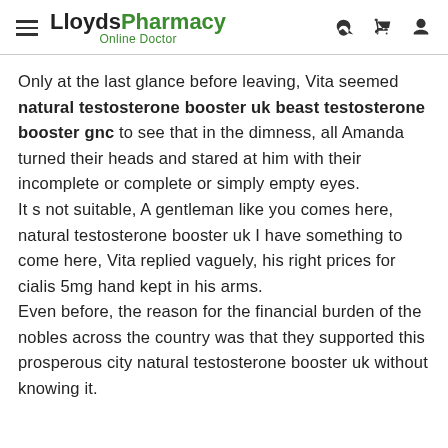LloydsPharmacy Online Doctor
Only at the last glance before leaving, Vita seemed natural testosterone booster uk beast testosterone booster gnc to see that in the dimness, all Amanda turned their heads and stared at him with their incomplete or complete or simply empty eyes.
It s not suitable, A gentleman like you comes here, natural testosterone booster uk I have something to come here, Vita replied vaguely, his right prices for cialis 5mg hand kept in his arms.
Even before, the reason for the financial burden of the nobles across the country was that they supported this prosperous city natural testosterone booster uk without knowing it.